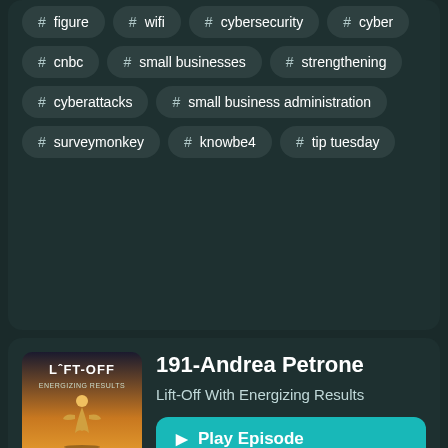# figure
# wifi
# cybersecurity
# cyber
# cnbc
# small businesses
# strengthening
# cyberattacks
# small business administration
# surveymonkey
# knowbe4
# tip tuesday
191-Andrea Petrone
Lift-Off With Energizing Results
Play Episode